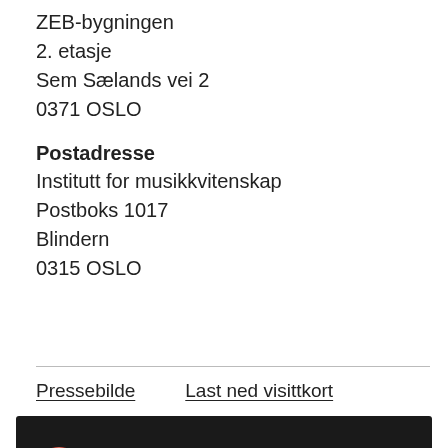ZEB-bygningen
2. etasje
Sem Sælands vei 2
0371 OSLO
Postadresse
Institutt for musikkvitenskap
Postboks 1017
Blindern
0315 OSLO
Pressebilde
Last ned visittkort
[Figure (screenshot): Video thumbnail showing the University of Oslo logo (red circle with owl) and the text 'Førsteamanuensis Hans T. Zeiner-...' with a three-dot menu icon, over a dark background with a person silhouette.]